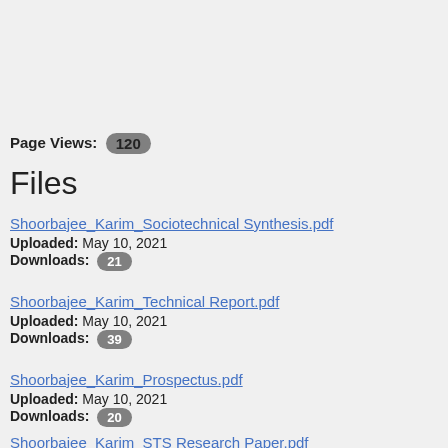Page Views: 120
Files
Shoorbajee_Karim_Sociotechnical_Synthesis.pdf
Uploaded: May 10, 2021
Downloads: 21
Shoorbajee_Karim_Technical_Report.pdf
Uploaded: May 10, 2021
Downloads: 39
Shoorbajee_Karim_Prospectus.pdf
Uploaded: May 10, 2021
Downloads: 20
Shoorbajee_Karim_STS_Research_Paper.pdf
Uploaded: May 10, 2021